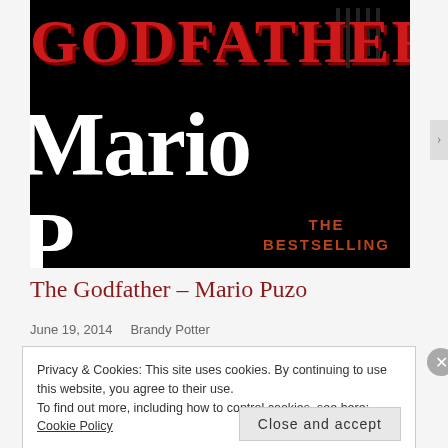[Figure (photo): Book cover of The Godfather by Mario Puzo. Black background with 'Godfather' in large red stylized text at top, 'Mario' in large white serif text in middle, partial 'P' visible at bottom. 'THE BESTSELLING' in red serif text at bottom right. Vertical black bars decorating top right.]
The Godfather – Mario Puzo
June 19, 2014   Brandy Potter
Privacy & Cookies: This site uses cookies. By continuing to use this website, you agree to their use.
To find out more, including how to control cookies, see here: Cookie Policy
Close and accept